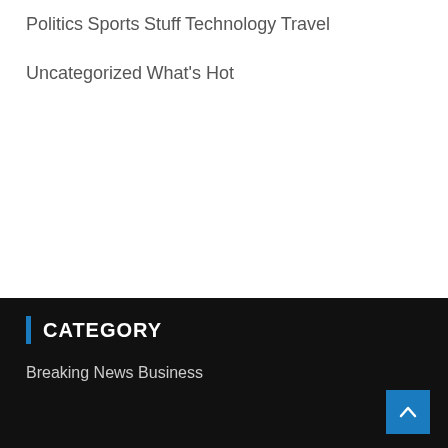Politics
Sports
Stuff
Technology
Travel
Uncategorized
What's Hot
CATEGORY
Breaking News
Business